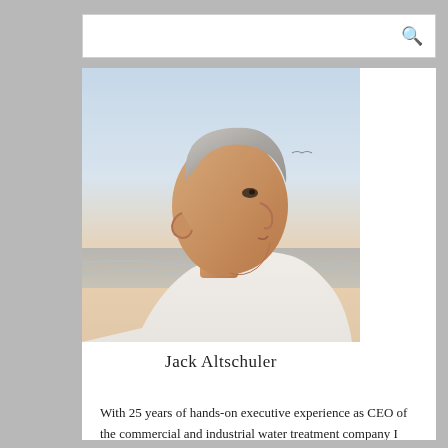[Figure (photo): Side profile photo of Jack Altschuler, an older man with grey hair, photographed outdoors near water with a light sky background. Name caption 'Jack Altschuler' appears at the bottom of the photo.]
Jack Altschuler
With 25 years of hands-on executive experience as CEO of the commercial and industrial water treatment company I founded, I now use every bit of what I learned there in delivering workshops and keynote speeches on leadership. And it seems our national political leaders need a bit of